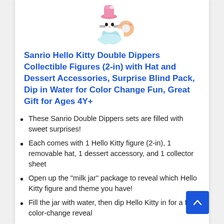[Figure (illustration): Hello Kitty Double Dippers collectible figure wearing a teal/blue outfit and pink hat, holding a pink donut accessory]
Sanrio Hello Kitty Double Dippers Collectible Figures (2-in) with Hat and Dessert Accessories, Surprise Blind Pack, Dip in Water for Color Change Fun, Great Gift for Ages 4Y+
These Sanrio Double Dippers sets are filled with sweet surprises!
Each comes with 1 Hello Kitty figure (2-in), 1 removable hat, 1 dessert accessory, and 1 collector sheet
Open up the "milk jar" package to reveal which Hello Kitty figure and theme you have!
Fill the jar with water, then dip Hello Kitty in for a fun color-change reveal
Look for Hello Kitty figures with different